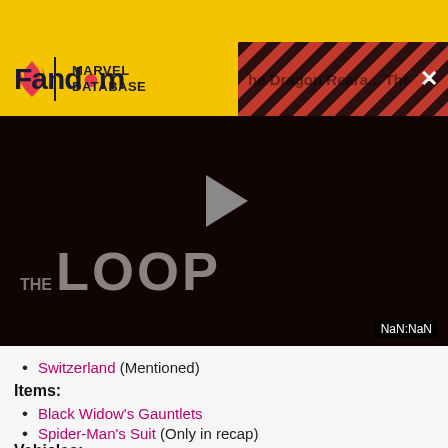[Figure (screenshot): Fandom Marvel Database website header with yellow background, Fandom logo with flame icon, MARVEL DATABASE text, search and user icons, and a diagonal stripe popup overlay]
[Figure (screenshot): Video player showing THE LOOP title text with dark overlay and play button. Timer shows NaN:NaN in bottom right corner.]
Switzerland (Mentioned)
Items:
Black Widow's Gauntlets
Spider-Man's Suit (Only in recap)
Vehicles: